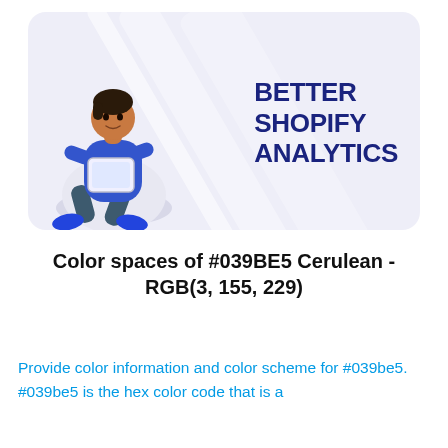[Figure (illustration): Banner card with light lavender background, diagonal light streaks, a person sitting in a chair using a tablet on the left, and bold dark navy text reading 'BETTER SHOPIFY ANALYTICS' on the right.]
Color spaces of #039BE5 Cerulean - RGB(3, 155, 229)
Provide color information and color scheme for #039be5. #039be5 is the hex color code that is a